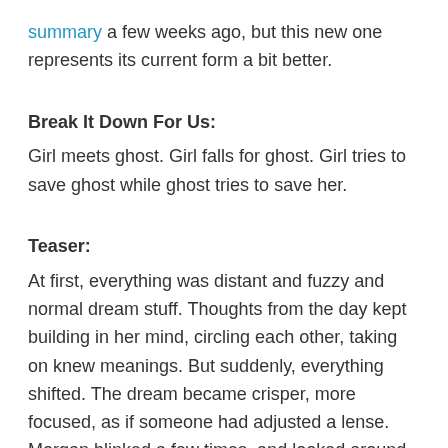summary a few weeks ago, but this new one represents its current form a bit better.
Break It Down For Us:
Girl meets ghost. Girl falls for ghost. Girl tries to save ghost while ghost tries to save her.
Teaser:
At first, everything was distant and fuzzy and normal dream stuff. Thoughts from the day kept building in her mind, circling each other, taking on knew meanings. But suddenly, everything shifted. The dream became crisper, more focused, as if someone had adjusted a lense. Morgan blinked a few times, and looked around her.
She was in the school. But not the normal school, all filled with daylight and students. This was the school at night,